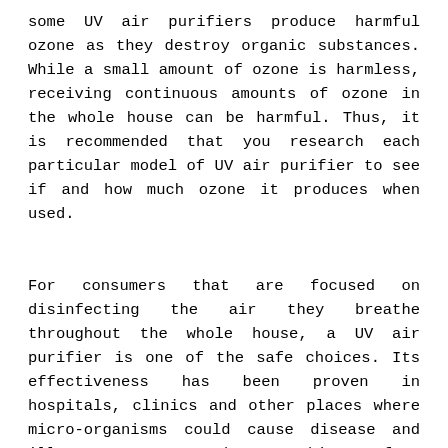some UV air purifiers produce harmful ozone as they destroy organic substances. While a small amount of ozone is harmless, receiving continuous amounts of ozone in the whole house can be harmful. Thus, it is recommended that you research each particular model of UV air purifier to see if and how much ozone it produces when used.
For consumers that are focused on disinfecting the air they breathe throughout the whole house, a UV air purifier is one of the safe choices. Its effectiveness has been proven in hospitals, clinics and other places where micro-organisms could cause disease and illness concerns. These machines often come paired or incorporated into other air filtering devices, such as HEPA filters, activated charcoal beds, and fume removal equipment. While ultraviolet air purifiers can